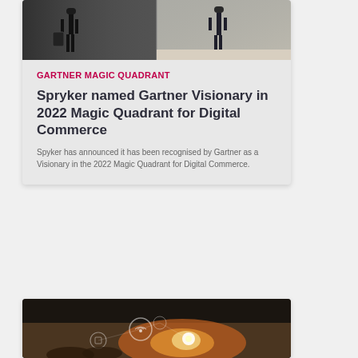[Figure (photo): Office photo showing two people, split into two panels — left panel dark with luggage/office scene, right panel lighter with person walking]
GARTNER MAGIC QUADRANT
Spryker named Gartner Visionary in 2022 Magic Quadrant for Digital Commerce
Spyker has announced it has been recognised by Gartner as a Visionary in the 2022 Magic Quadrant for Digital Commerce.
[Figure (photo): Close-up photo of hands with digital IoT/technology icons overlaid, including WiFi symbol and glowing light elements]